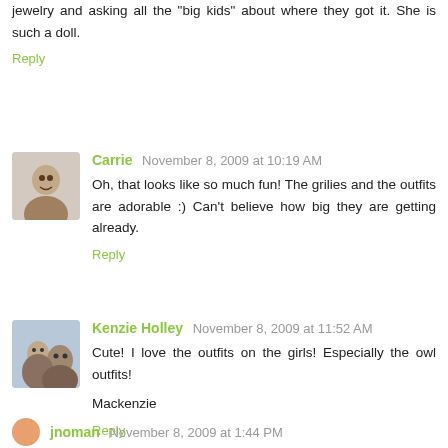jewelry and asking all the "big kids" about where they got it. She is such a doll.
Reply
Carrie  November 8, 2009 at 10:19 AM
Oh, that looks like so much fun! The grilies and the outfits are adorable :) Can't believe how big they are getting already.
Reply
Kenzie Holley  November 8, 2009 at 11:52 AM
Cute! I love the outfits on the girls! Especially the owl outfits!
Mackenzie
Reply
jnoman  November 8, 2009 at 1:44 PM